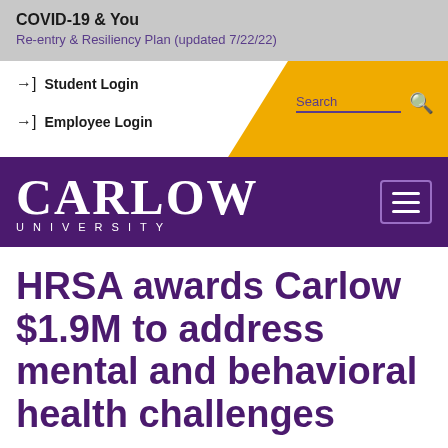COVID-19 & You
Re-entry & Resiliency Plan (updated 7/22/22)
Student Login
Employee Login
[Figure (logo): Search bar with magnifying glass icon on gold background]
[Figure (logo): Carlow University logo — CARLOW in large white serif text, UNIVERSITY in white spaced capitals, on dark purple background, with hamburger menu icon]
HRSA awards Carlow $1.9M to address mental and behavioral health challenges